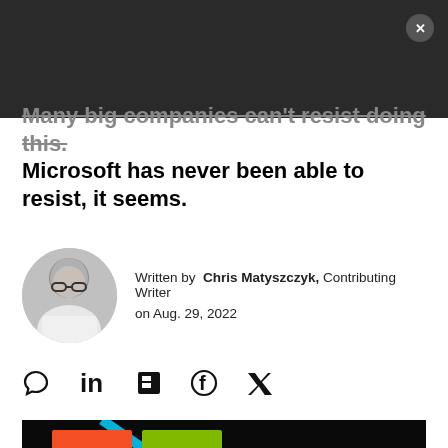Many big companies can't resist doing this. Microsoft has never been able to resist, it seems.
Written by Chris Matyszczyk, Contributing Writer on Aug. 29, 2022
[Figure (photo): Microsoft logo sign with colorful squares (orange, green, blue) on dark background with a cyan diagonal stripe of light]